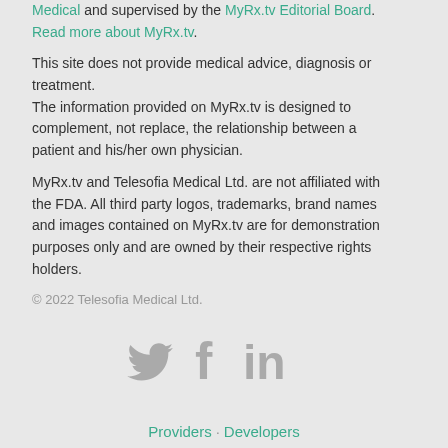Medical and supervised by the MyRx.tv Editorial Board. Read more about MyRx.tv.
This site does not provide medical advice, diagnosis or treatment.
The information provided on MyRx.tv is designed to complement, not replace, the relationship between a patient and his/her own physician.
MyRx.tv and Telesofia Medical Ltd. are not affiliated with the FDA. All third party logos, trademarks, brand names and images contained on MyRx.tv are for demonstration purposes only and are owned by their respective rights holders.
© 2022 Telesofia Medical Ltd.
[Figure (illustration): Social media icons: Twitter bird, Facebook f, LinkedIn in]
Providers · Developers